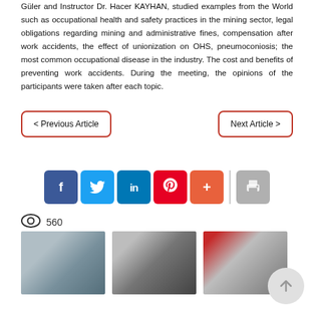Güler and Instructor Dr. Hacer KAYHAN, studied examples from the World such as occupational health and safety practices in the mining sector, legal obligations regarding mining and administrative fines, compensation after work accidents, the effect of unionization on OHS, pneumoconiosis; the most common occupational disease in the industry. The cost and benefits of preventing work accidents. During the meeting, the opinions of the participants were taken after each topic.
< Previous Article
Next Article >
[Figure (other): Social media sharing buttons: Facebook, Twitter, LinkedIn, Pinterest, Plus, separator, Print]
560
[Figure (photo): Conference room photo showing audience seated with masks]
[Figure (photo): Speaker at podium with Turkish flag in background]
[Figure (photo): Speaker at podium with Turkish flag and presentation screen]